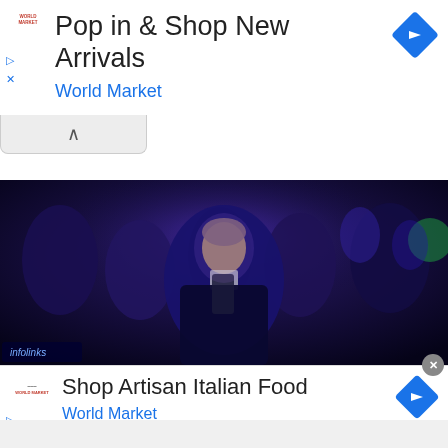[Figure (screenshot): Top advertisement banner: 'Pop in & Shop New Arrivals' from World Market with blue diamond arrow icon on right, World Market red logo on left, play and close controls on far left.]
[Figure (screenshot): Web page UI: collapse chevron button bar and white panel area above main image.]
[Figure (photo): Dark photograph of a man in a dark blazer and scarf sitting in a crowd at what appears to be a performance or event, with purple/blue stage lighting. Infolinks badge in bottom left corner.]
[Figure (screenshot): Bottom advertisement banner: 'Shop Artisan Italian Food' from World Market with blue diamond arrow icon on right, World Market logo on left, play and close controls on far left. Close X button top right. Gray strip at the very bottom.]